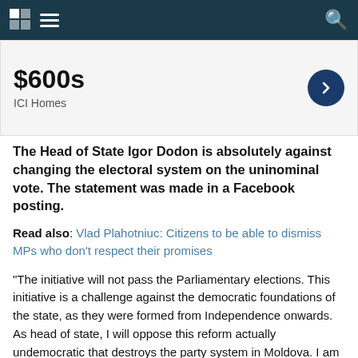Navigation bar with grid icon, hamburger menu, and search icon
[Figure (other): Advertisement banner showing '$600s' price with ICI Homes branding and a dark blue arrow button]
The Head of State Igor Dodon is absolutely against changing the electoral system on the uninominal vote. The statement was made in a Facebook posting.
Read also: Vlad Plahotniuc: Citizens to be able to dismiss MPs who don't respect their promises
"The initiative will not pass the Parliamentary elections. This initiative is a challenge against the democratic foundations of the state, as they were formed from Independence onwards. As head of state, I will oppose this reform actually undemocratic that destroys the party system in Moldova. I am convinced that the Socialist Party faction will be against this bill, whether it will be submitted to the parliament. I am counting on this and the support of other parties in the parliament" , wrote Igor Dodon.